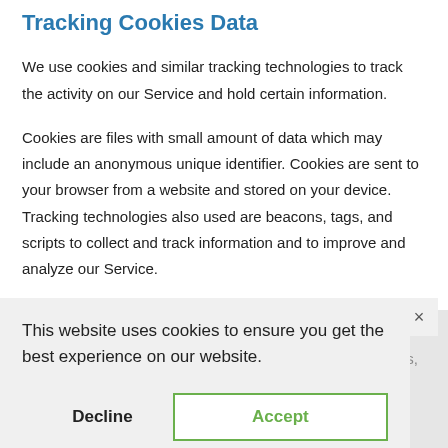Tracking Cookies Data
We use cookies and similar tracking technologies to track the activity on our Service and hold certain information.
Cookies are files with small amount of data which may include an anonymous unique identifier. Cookies are sent to your browser from a website and stored on your device. Tracking technologies also used are beacons, tags, and scripts to collect and track information and to improve and analyze our Service.
[Figure (screenshot): Cookie consent banner overlay with message 'This website uses cookies to ensure you get the best experience on our website.' and Decline / Accept buttons. A close (×) button is at the top right. Below the banner, partial text ending in 'cate', 'ookies,', 'ur', and 'Service.' is visible behind the greyed overlay.]